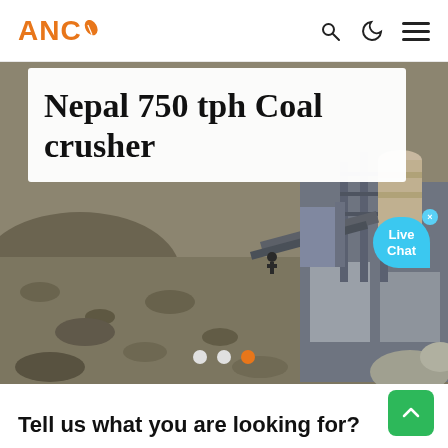ANC
[Figure (photo): Aerial view of a coal crushing plant site in Nepal showing industrial machinery, conveyor belts, a cylindrical tank, concrete structures, and rocky terrain with a worker visible in the background.]
Nepal 750 tph Coal crusher
Tell us what you are looking for?